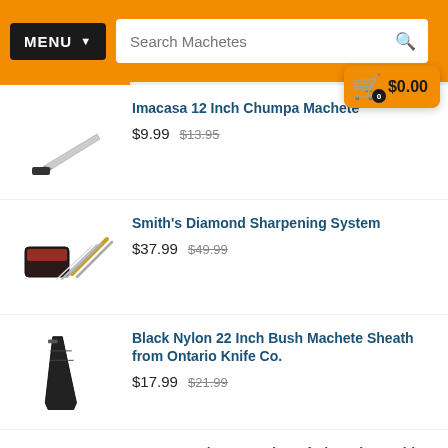[Figure (screenshot): Orange navigation header with MENU button and Search Machetes search bar]
[Figure (infographic): Shopping cart badge showing $0.00 with 0 items]
[Figure (photo): Imacasa 12 inch machete product image]
Imacasa 12 Inch Chumpa Machete
$9.99 $13.95
[Figure (photo): Smith's Diamond Sharpening System product image]
Smith's Diamond Sharpening System
$37.99 $49.99
[Figure (photo): Black nylon machete sheath product image]
Black Nylon 22 Inch Bush Machete Sheath from Ontario Knife Co.
$17.99 $21.99
[Figure (photo): SOG 18 Inch Serrated Sogfari Machete with Sheath product image]
SOG 18 Inch Serrated Sogfari Machete with Sheath
★★★★